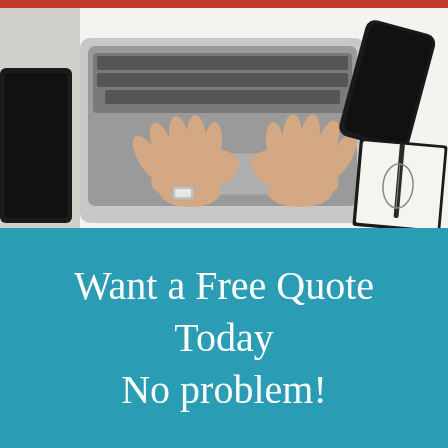[Figure (photo): Overhead view of person's hands typing on a laptop on a white desk, with a smartphone and notebook with pen visible to the right, and a dark tablet to the left. Red banner visible at the very top.]
Want a Free Quote Today
No problem!